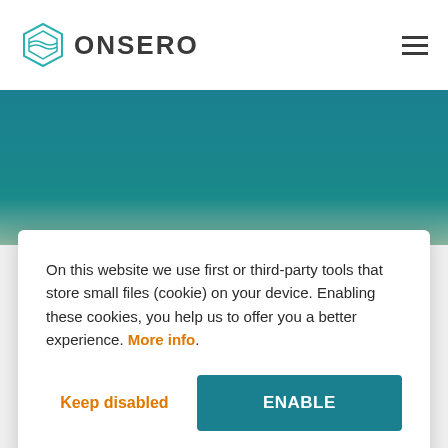ONSERO
[Figure (other): Teal/turquoise gradient banner background]
On this website we use first or third-party tools that store small files (cookie) on your device. Enabling these cookies, you help us to offer you a better experience. More info.
Keep disabled
ENABLE